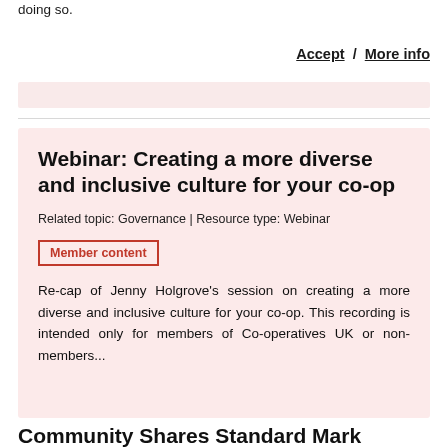doing so.
Accept / More info
Webinar: Creating a more diverse and inclusive culture for your co-op
Related topic: Governance | Resource type: Webinar
Member content
Re-cap of Jenny Holgrove's session on creating a more diverse and inclusive culture for your co-op. This recording is intended only for members of Co-operatives UK or non-members...
Community Shares Standard Mark